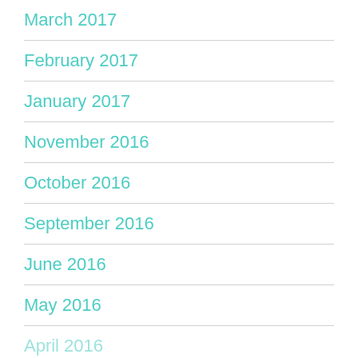March 2017
February 2017
January 2017
November 2016
October 2016
September 2016
June 2016
May 2016
April 2016